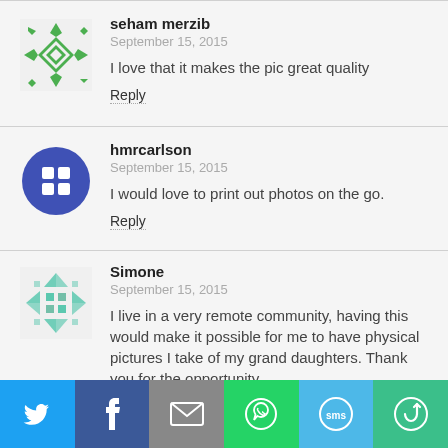seham merzib
September 15, 2015
I love that it makes the pic great quality
Reply
hmrcarlson
September 15, 2015
I would love to print out photos on the go.
Reply
Simone
September 15, 2015
I live in a very remote community, having this would make it possible for me to have physical pictures I take of my grand daughters. Thank you for the opportunity.
[Figure (infographic): Social share bar with Twitter, Facebook, Email, WhatsApp, SMS, and another sharing option icons]